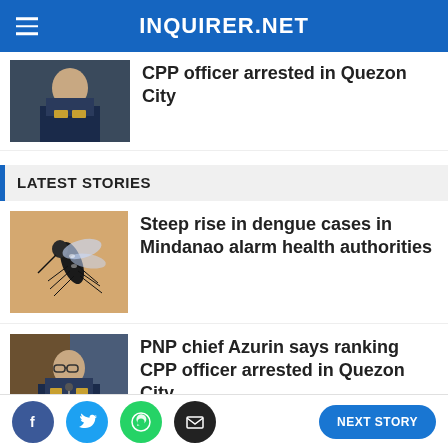INQUIRER.NET
CPP officer arrested in Quezon City
LATEST STORIES
Steep rise in dengue cases in Mindanao alarm health authorities
PNP chief Azurin says ranking CPP officer arrested in Quezon City